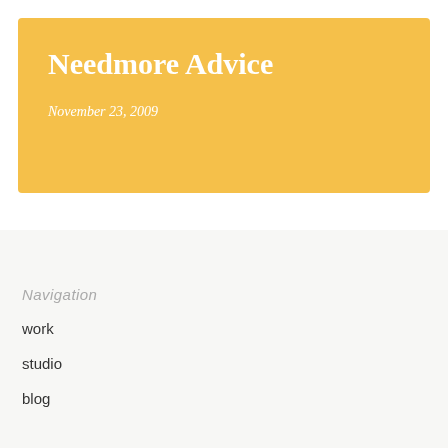Needmore Advice
November 23, 2009
Navigation
work
studio
blog